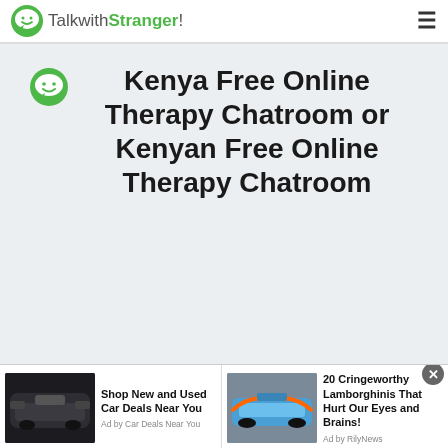TalkwithStranger!
Kenya Free Online Therapy Chatroom or Kenyan Free Online Therapy Chatroom
[Figure (screenshot): Advertisement banner for car deals with image of a dark SUV. Text: Shop New and Used Car Deals Near You. Ad by Car Deals Near You.]
[Figure (screenshot): Advertisement banner with image of a blue and orange sports car (Lamborghini). Text: 20 Cringeworthy Lamborghinis That Hurt Our Eyes and Brains! Ad by RilyNews.]